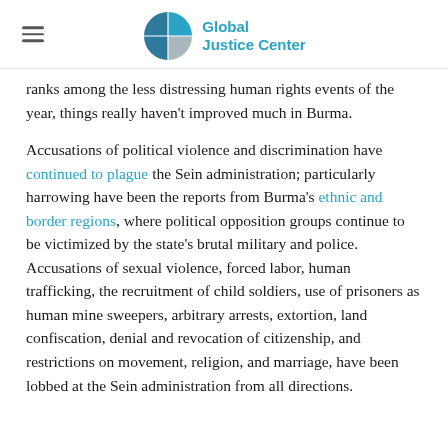Global Justice Center
ranks among the less distressing human rights events of the year, things really haven't improved much in Burma.

Accusations of political violence and discrimination have continued to plague the Sein administration; particularly harrowing have been the reports from Burma's ethnic and border regions, where political opposition groups continue to be victimized by the state's brutal military and police. Accusations of sexual violence, forced labor, human trafficking, the recruitment of child soldiers, use of prisoners as human mine sweepers, arbitrary arrests, extortion, land confiscation, denial and revocation of citizenship, and restrictions on movement, religion, and marriage, have been lobbed at the Sein administration from all directions.